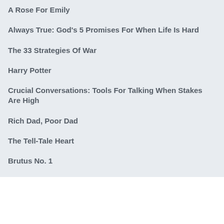A Rose For Emily
Always True: God's 5 Promises For When Life Is Hard
The 33 Strategies Of War
Harry Potter
Crucial Conversations: Tools For Talking When Stakes Are High
Rich Dad, Poor Dad
The Tell-Tale Heart
Brutus No. 1